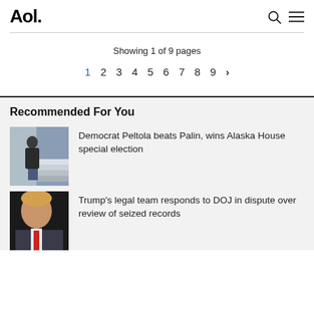Aol.
Showing 1 of 9 pages
1  2  3  4  5  6  7  8  9  ›
Recommended For You
[Figure (photo): Person standing on stairs, wearing dark jacket and jeans]
Democrat Peltola beats Palin, wins Alaska House special election
[Figure (photo): Close-up of a man in a suit with red tie, partially visible]
Trump's legal team responds to DOJ in dispute over review of seized records